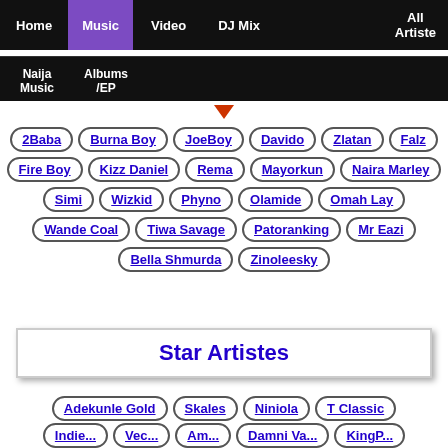Home | Music | Video | DJ Mix | All Artiste
Naija Music | Albums/EP
2Baba
Burna Boy
JoeBoy
Davido
Zlatan
Falz
Fire Boy
Kizz Daniel
Rema
Mayorkun
Naira Marley
Simi
Wizkid
Phyno
Olamide
Omah Lay
Wande Coal
Tiwa Savage
Patoranking
Mr Eazi
Bella Shmurda
Zinoleesky
Star Artistes
Adekunle Gold
Skales
Niniola
T Classic